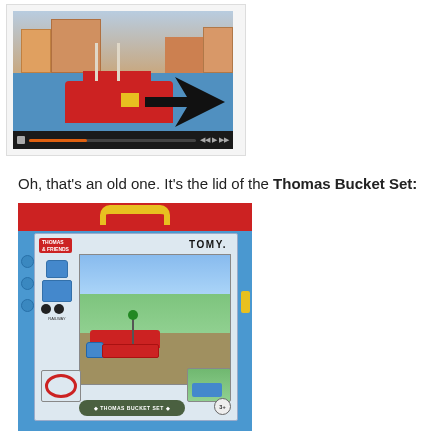[Figure (screenshot): Screenshot of a video showing a Thomas the Tank Engine toy train set with a red boat/ferry piece, blue tracks, and buildings in the background. A black arrow points to a red piece on the track.]
Oh, that's an old one. It's the lid of the Thomas Bucket Set:
[Figure (photo): Photo of the Thomas Bucket Set toy packaging/lid. Blue plastic bucket with red rim and yellow handle, featuring TOMY branding and Thomas & Friends artwork showing Thomas the train on tracks with a red ferry piece. Label reads 'THOMAS BUCKET SET' at bottom with age rating 3+.]